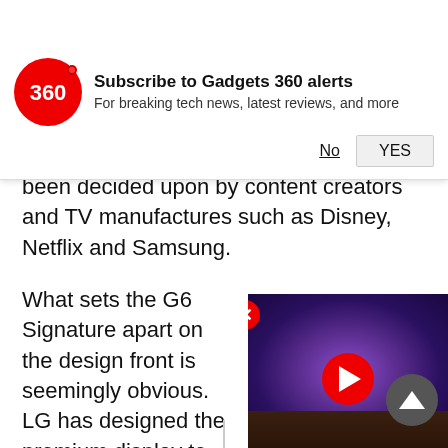[Figure (screenshot): Gadgets 360 notification subscribe banner with red circular logo showing '360', bold title 'Subscribe to Gadgets 360 alerts', subtitle 'For breaking tech news, latest reviews, and more', and two buttons 'No' (underlined) and 'YES']
been decided upon by content creators and TV manufactures such as Disney, Netflix and Samsung.
What sets the G6 Signature apart on the design front is seemingly obvious. LG has designed the premium display to be impossibly thin, what with it boasting a thickness of 2.57mm. The Korean calls it its "Picture-On-Glass" design, and with all the components on the back, that does seem like the perfect definition.
[Figure (screenshot): Video player thumbnail showing a TV displaying a spiral galaxy image in purple tones, with a red play button overlay and close (X) button in top left]